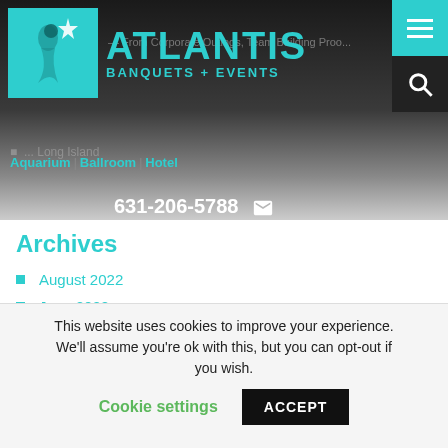Atlantis Banquets + Events | Aquarium | Ballroom | Hotel | 631-206-5788
Archives
August 2022
June 2022
April 2022
March 2022
February 2022
January 2022
This website uses cookies to improve your experience. We'll assume you're ok with this, but you can opt-out if you wish. Cookie settings ACCEPT